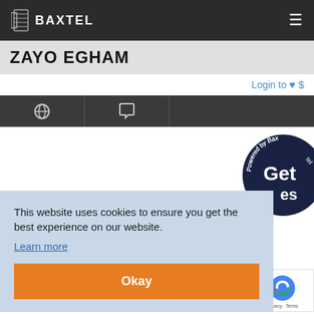Baxtel
ZAYO EGHAM
Login to ♥ $
[Figure (screenshot): Navigation tab bar with globe icon and chat icon on dark background]
[Figure (logo): Powered by Baxtel circular dark navy badge with 'Get' and 'es' text visible]
This website uses cookies to ensure you get the best experience on our website. Learn more
Okay
[Figure (other): reCAPTCHA widget - Privacy · Terms]